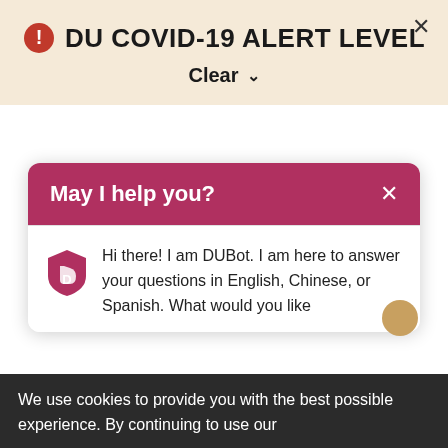DU COVID-19 ALERT LEVEL
Clear
[Figure (screenshot): Chat widget with pink/crimson header saying 'May I help you?' with a close X button, and a chat body showing DUBot logo and message text]
Hi there! I am DUBot. I am here to answer your questions in English, Chinese, or Spanish. What would you like
We use cookies to provide you with the best possible experience. By continuing to use our